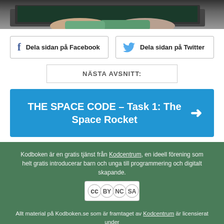[Figure (photo): Hands typing on a laptop keyboard, person wearing green/teal top]
Dela sidan på Facebook
Dela sidan på Twitter
NÄSTA AVSNITT:
THE SPACE CODE – Task 1: The Space Rocket
Kodboken är en gratis tjänst från Kodcentrum, en ideell förening som helt gratis introducerar barn och unga till programmering och digitalt skapande.
[Figure (logo): Creative Commons BY NC SA license badge]
Allt material på Kodboken.se som är framtaget av Kodcentrum är licensierat under en Creative Commons Attribution-NonCommercial-ShareAlike 4.0 Internationell-licens. Bilder från tredje part kan vara undantagna och ha andra rättigheter.